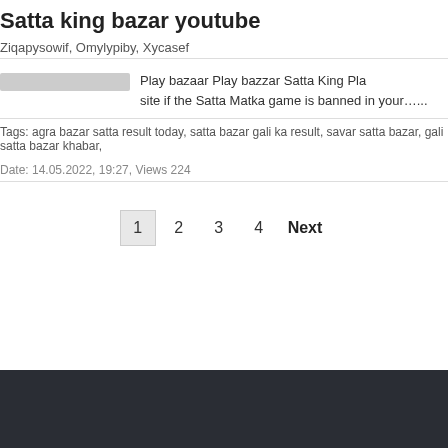Satta king bazar youtube
Ziqapysowif, Omylypiby, Xycasef
Play bazaar Play bazzar Satta King Pla... site if the Satta Matka game is banned in your…...
Tags: agra bazar satta result today, satta bazar gali ka result, savar satta bazar, gali satta bazar khabar,
Date: 14.05.2022, 19:27, Views 224
1 2 3 4 Next